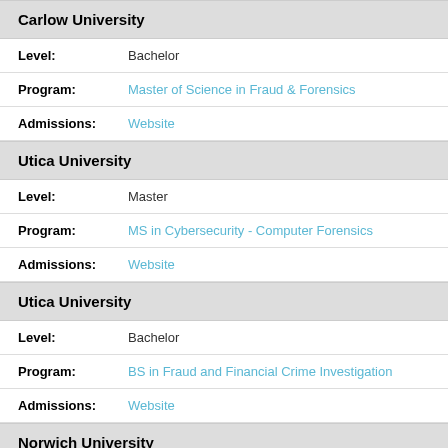Carlow University
Level: Bachelor
Program: Master of Science in Fraud & Forensics
Admissions: Website
Utica University
Level: Master
Program: MS in Cybersecurity - Computer Forensics
Admissions: Website
Utica University
Level: Bachelor
Program: BS in Fraud and Financial Crime Investigation
Admissions: Website
Norwich University
Level: Bachelor